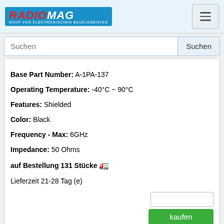[Figure (logo): RADIOMAG logo - red and white text on blue background, subtitle: SHOP VON ELEKTRONISCHEN BAUELEMENTEN]
Suchen [search input field and button]
Base Part Number: A-1PA-137
Operating Temperature: -40°C ~ 90°C
Features: Shielded
Color: Black
Frequency - Max: 6GHz
Impedance: 50 Ohms
auf Bestellung 131 Stücke 🚚
Lieferzeit 21-28 Tag (e)
115101-20-12.00
115101-20-12.00
Hersteller: Amphenol RF
Description: CBL ASSY BNC PLUG-PLUG RG59 12"
Style: BNC to BNC
Length: 12.00" (304.80mm)
Color: Black
Packaging: Bulk
Overall Impedance: 75 Ohms